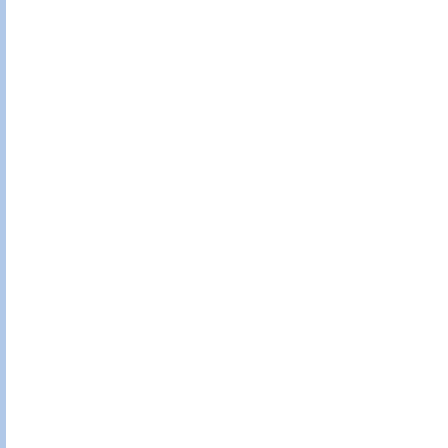I wanted to check w/ you to see if that comment was upsetting or something. took the scriptures only so far and gave no room for imperfection making it do with lack of faith as opposed to the result of someone else's sins and cr sin of Adam. I wanted to make sure I worded things right and got across w leave a thousand follow up comments but I won't. I just wanted to make su intended.
Austin
Clueless said...
@CK. Some Christians are like that and this one has a need to make thing all good; however, that is not what the Bible teaches. Also, Jesus healed m out demons from. It actually is a very complicated issue and you need to b multiple levels. I'm glad I replied in the way that I did.
@p.j. That is a good thing, but it does take someone to pave the way. I alw associated with my church since 1981 and also helped to start a healing m and to educate. About 10 years ago, it helped that our pastor and his wife a counseling successfully and he shared his struggles and some of his depre
@Austin. You came across fine and I agree with you. It is a very complex i
Also, I was thinking about if it was to stir my inner pot. I don't think that fits.